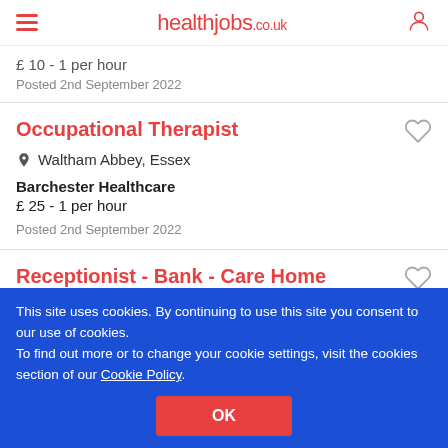healthjobs.co.uk
£ 10 - 1 per hour
Posted 2nd September 2022
Occupational Therapist
Waltham Abbey, Essex
Barchester Healthcare
£ 25 - 1 per hour
Posted 2nd September 2022
Receptionist - Bank - Care Home
This site uses cookies. By continuing to use this site you consent to our use of cookies.
To find out more or to change your cookie settings, visit the cookies section of our Cookie Policy.
OK